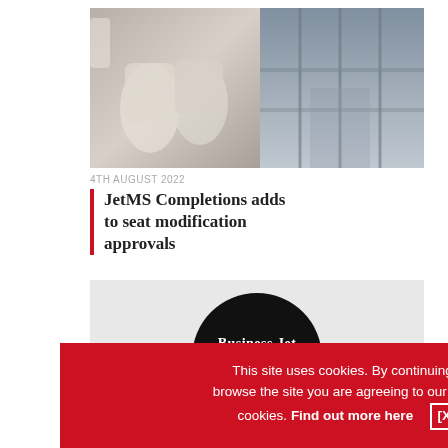[Figure (photo): Two side-by-side photos of aircraft interior: left shows white leather seating, right shows a hangar or completion facility interior.]
4TH AUGUST 2022
JetMS Completions adds to seat modification approvals
[Figure (logo): Business Jet Interiors International logo — white text on black circle over light grey background.]
27TH MAY 2022
Falcon P... unveiled...
This site uses cookies. By continuing to browse the site you are agreeing to our use of cookies. Find out more here   [X]